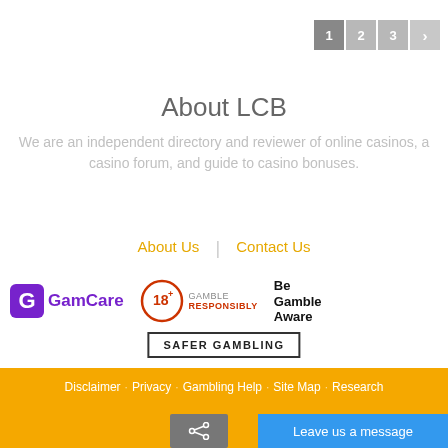1 2 3 >
About LCB
We are an independent directory and reviewer of online casinos, a casino forum, and guide to casino bonuses.
About Us | Contact Us
[Figure (logo): GamCare logo with purple G icon and bold purple text]
[Figure (logo): 18+ Gamble Responsibly logo with red circle and red bold text]
[Figure (logo): Be Gamble Aware bold black text logo]
[Figure (logo): Safer Gambling text in bordered rectangle]
Disclaimer · Privacy · Gambling Help · Site Map · Research
Leave us a message